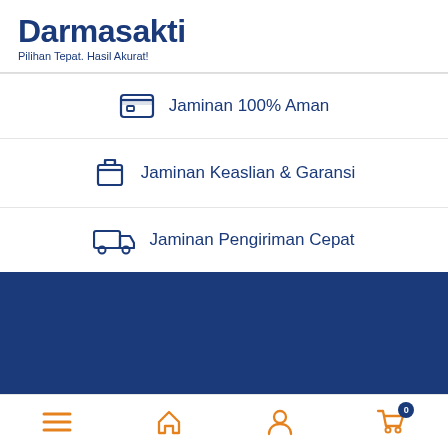Darmasakti
Pilihan Tepat. Hasil Akurat!
Jaminan 100% Aman
Jaminan Keaslian & Garansi
Jaminan Pengiriman Cepat
[Figure (screenshot): Dark blue background section (website content area)]
(021) 734 726
Bottom navigation bar with menu, home, user, and cart (0) icons